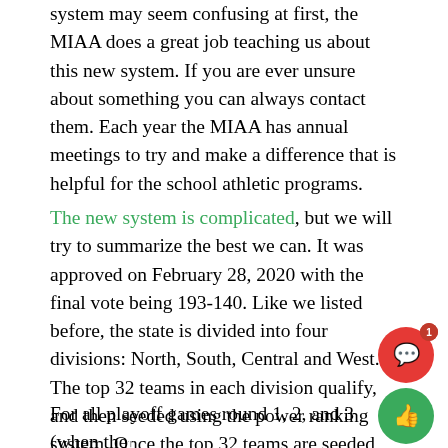system may seem confusing at first, the MIAA does a great job teaching us about this new system. If you are ever unsure about something you can always contact them. Each year the MIAA has annual meetings to try and make a difference that is helpful for the school athletic programs.
The new system is complicated, but we will try to summarize the best we can. It was approved on February 28, 2020 with the final vote being 193-140. Like we listed before, the state is divided into four divisions: North, South, Central and West. The top 32 teams in each division qualify, and then seeded using the power ranking system. Once the top 32 teams are seeded, the rest of the division with a 50% or better record will be seeded at the bottom of each bracket.
For all playoff games round 1, 2, and 3 (when the...